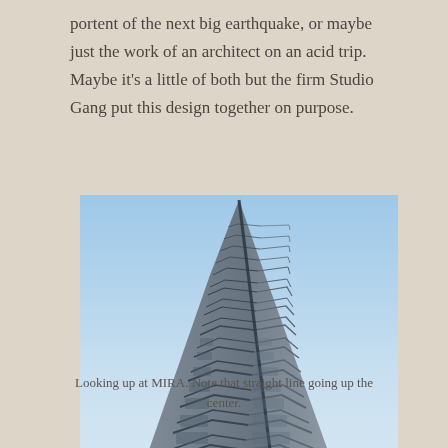portent of the next big earthquake, or maybe just the work of an architect on an acid trip. Maybe it's a little of both but the firm Studio Gang put this design together on purpose.
[Figure (photo): Low-angle upward photograph of MIRA tower in San Francisco, showing the distinctive wave-like stacked balconies and the straight center ridge line of the modern high-rise against a blue sky.]
Looking up at MIRA. Note that straight line going up the center.